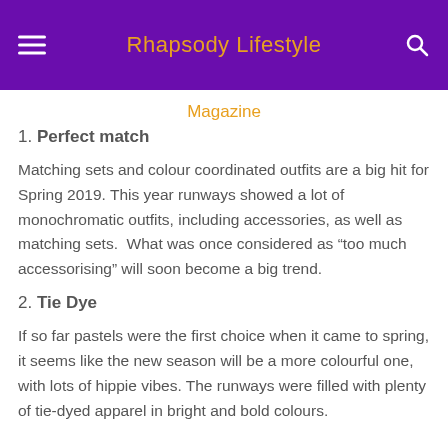Rhapsody Lifestyle
Magazine
1. Perfect match
Matching sets and colour coordinated outfits are a big hit for Spring 2019. This year runways showed a lot of monochromatic outfits, including accessories, as well as matching sets.  What was once considered as “too much accessorising” will soon become a big trend.
2. Tie Dye
If so far pastels were the first choice when it came to spring, it seems like the new season will be a more colourful one, with lots of hippie vibes. The runways were filled with plenty of tie-dyed apparel in bright and bold colours.